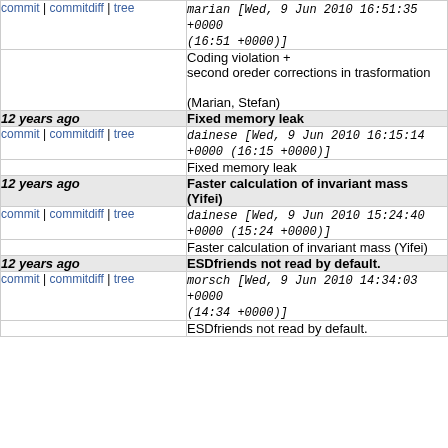commit | commitdiff | tree   marian [Wed, 9 Jun 2010 16:51:35 +0000 (16:51 +0000)]
Coding violation + second oreder corrections in trasformation

(Marian, Stefan)
12 years ago   Fixed memory leak
commit | commitdiff | tree   dainese [Wed, 9 Jun 2010 16:15:14 +0000 (16:15 +0000)]
Fixed memory leak
12 years ago   Faster calculation of invariant mass (Yifei)
commit | commitdiff | tree   dainese [Wed, 9 Jun 2010 15:24:40 +0000 (15:24 +0000)]
Faster calculation of invariant mass (Yifei)
12 years ago   ESDfriends not read by default.
commit | commitdiff | tree   morsch [Wed, 9 Jun 2010 14:34:03 +0000 (14:34 +0000)]
ESDfriends not read by default.